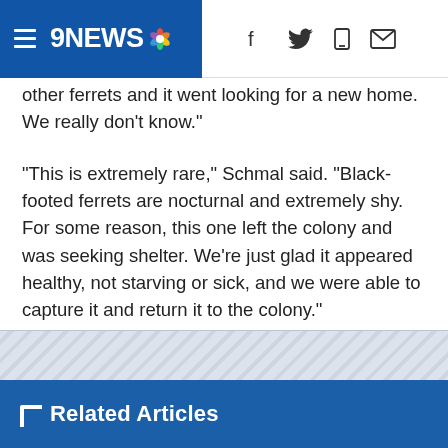9NEWS [logo with NBC peacock] | [Facebook icon] [Twitter icon] [Mobile icon] [Email icon]
other ferrets and it went looking for a new home. We really don't know."
"This is extremely rare," Schmal said. "Black-footed ferrets are nocturnal and extremely shy. For some reason, this one left the colony and was seeking shelter. We’re just glad it appeared healthy, not starving or sick, and we were able to capture it and return it to the colony."
[Figure (other): Advertisement placeholder area with diagonal stripe pattern]
Related Articles